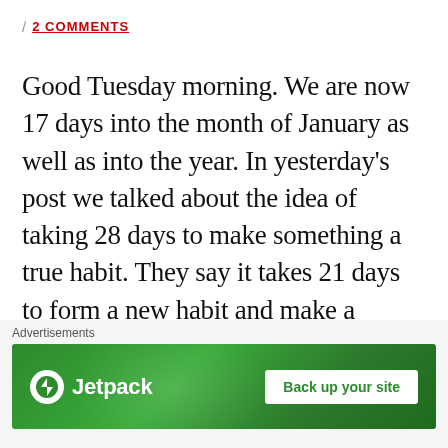/ 2 COMMENTS
Good Tuesday morning. We are now 17 days into the month of January as well as into the year. In yesterday’s post we talked about the idea of taking 28 days to make something a true habit. They say it takes 21 days to form a new habit and make a change in our lives …
CONTINUE READING →
Advertisements
[Figure (infographic): Jetpack advertisement banner with logo and 'Back up your site' button on green background]